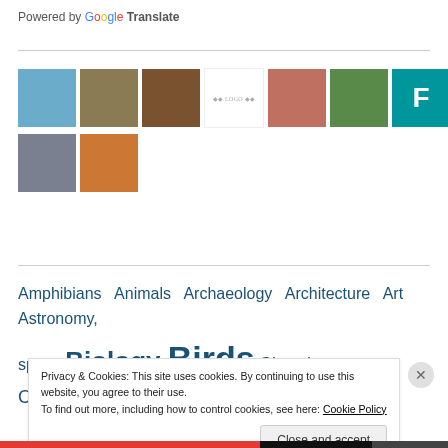Powered by Google Translate
[Figure (photo): Grid of user avatar thumbnails: blue sky, nature/person, brown texture, small logo text, portrait of man, flowers/green, teal F initial, mountain scene, man portrait, red parrot]
Amphibians  Animals  Archaeology  Architecture  Art  Astronomy, space  Biology  Birds  Chemistry  Computers, Internet
Privacy & Cookies: This site uses cookies. By continuing to use this website, you agree to their use.
To find out more, including how to control cookies, see here: Cookie Policy
Close and accept